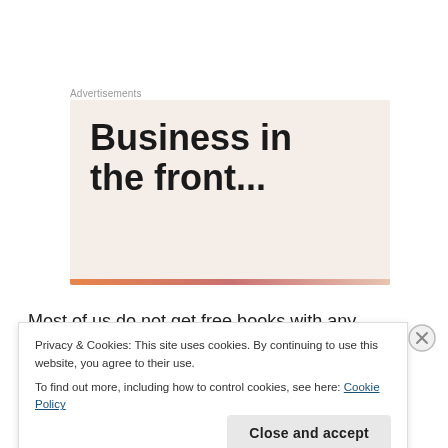Advertisements
[Figure (illustration): Advertisement banner with text 'Business in the front...' on a pink/beige background with an orange-pink gradient bar at the bottom.]
Most of us do not get free books with any obligations apart from making sure we mention that we've received a free book in the caption. Publishers do not
Privacy & Cookies: This site uses cookies. By continuing to use this website, you agree to their use.
To find out more, including how to control cookies, see here: Cookie Policy
Close and accept